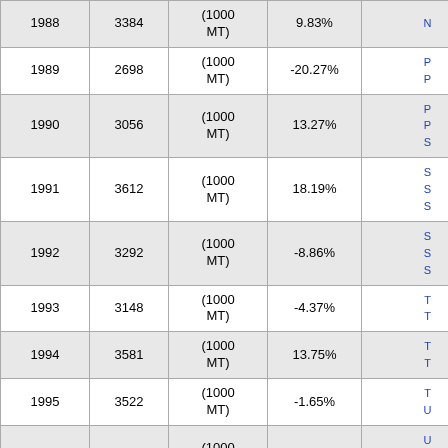| Year | Value | Unit | Change |  |
| --- | --- | --- | --- | --- |
| 1988 | 3384 | (1000 MT) | 9.83% |  |
| 1989 | 2698 | (1000 MT) | -20.27% |  |
| 1990 | 3056 | (1000 MT) | 13.27% |  |
| 1991 | 3612 | (1000 MT) | 18.19% |  |
| 1992 | 3292 | (1000 MT) | -8.86% |  |
| 1993 | 3148 | (1000 MT) | -4.37% |  |
| 1994 | 3581 | (1000 MT) | 13.75% |  |
| 1995 | 3522 | (1000 MT) | -1.65% |  |
| 1996 | 3502 | (1000 MT) | -0.57% |  |
| 1997 | 3528 | (1000 MT) | 0.74% |  |
| 1998 | 2467 | (1000 MT) | -30.07% |  |
| 1999 | 2780 | (1000 MT) | 12.69% |  |